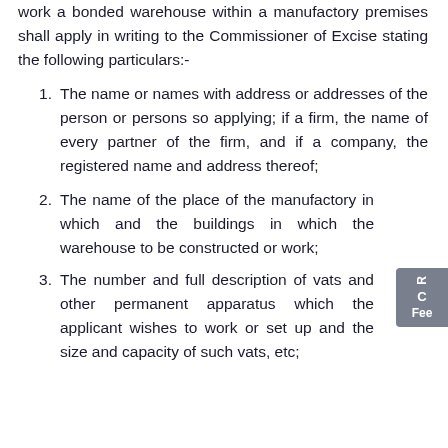work a bonded warehouse within a manufactory premises shall apply in writing to the Commissioner of Excise stating the following particulars:-
1. The name or names with address or addresses of the person or persons so applying; if a firm, the name of every partner of the firm, and if a company, the registered name and address thereof;
2. The name of the place of the manufactory in which and the buildings in which the warehouse to be constructed or work;
3. The number and full description of vats and other permanent apparatus which the applicant wishes to work or set up and the size and capacity of such vats, etc;